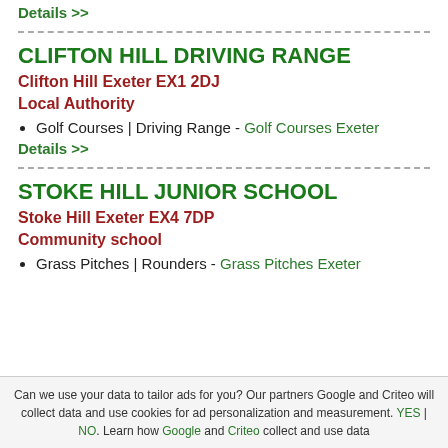Details >>
CLIFTON HILL DRIVING RANGE
Clifton Hill Exeter EX1 2DJ
Local Authority
Golf Courses | Driving Range - Golf Courses Exeter
Details >>
STOKE HILL JUNIOR SCHOOL
Stoke Hill Exeter EX4 7DP
Community school
Grass Pitches | Rounders - Grass Pitches Exeter
Can we use your data to tailor ads for you? Our partners Google and Criteo will collect data and use cookies for ad personalization and measurement. YES | NO. Learn how Google and Criteo collect and use data